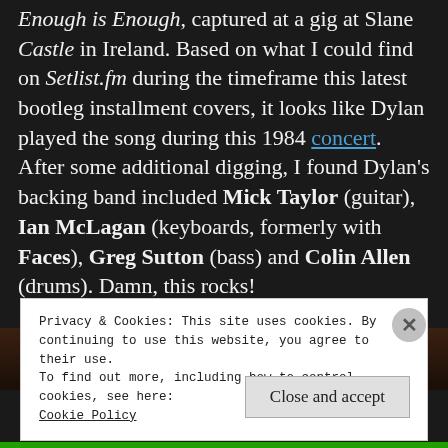Enough is Enough, captured at a gig at Slane Castle in Ireland. Based on what I could find on Setlist.fm during the timeframe this latest bootleg installment covers, it looks like Dylan played the song during this 1984 concert. After some additional digging, I found Dylan's backing band included Mick Taylor (guitar), Ian McLagan (keyboards, formerly with Faces), Greg Sutton (bass) and Colin Allen (drums). Damn, this rocks!
[Figure (photo): Partial image strip visible at bottom of dark background area]
Privacy & Cookies: This site uses cookies. By continuing to use this website, you agree to their use.
To find out more, including how to control cookies, see here:
Cookie Policy
Close and accept